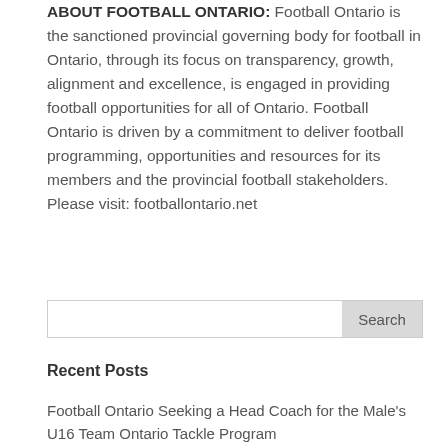ABOUT FOOTBALL ONTARIO: Football Ontario is the sanctioned provincial governing body for football in Ontario, through its focus on transparency, growth, alignment and excellence, is engaged in providing football opportunities for all of Ontario. Football Ontario is driven by a commitment to deliver football programming, opportunities and resources for its members and the provincial football stakeholders. Please visit: footballontario.net
Search
Recent Posts
Football Ontario Seeking a Head Coach for the Male's U16 Team Ontario Tackle Program